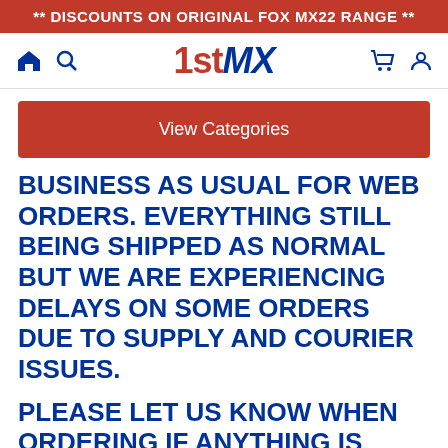** DISCOUNTS ON ORIGINAL FOX MX22 RANGE **
[Figure (screenshot): Website navigation bar with home icon, search icon, 1stMX logo, cart icon, and user account icon]
View Categories
BUSINESS AS USUAL FOR WEB ORDERS. EVERYTHING STILL BEING SHIPPED AS NORMAL BUT WE ARE EXPERIENCING DELAYS ON SOME ORDERS DUE TO SUPPLY AND COURIER ISSUES.
PLEASE LET US KNOW WHEN ORDERING IF ANYTHING IS NEEDED URGENTLY AND WE WILL DO OUR BEST TO GET IT TO YOU IN TIME